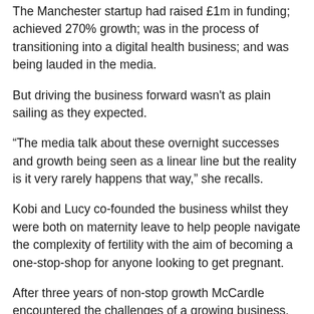The Manchester startup had raised £1m in funding; achieved 270% growth; was in the process of transitioning into a digital health business; and was being lauded in the media.
But driving the business forward wasn't as plain sailing as they expected.
“The media talk about these overnight successes and growth being seen as a linear line but the reality is it very rarely happens that way,” she recalls.
Kobi and Lucy co-founded the business whilst they were both on maternity leave to help people navigate the complexity of fertility with the aim of becoming a one-stop-shop for anyone looking to get pregnant.
After three years of non-stop growth McCardle encountered the challenges of a growing business.
She was looking for inspiration – and then it came in the